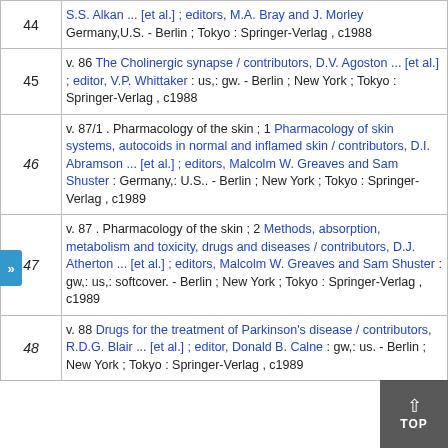| # | Entry |
| --- | --- |
| 44 | S.S. Alkan ... [et al.] ; editors, M.A. Bray and J. Morley Germany,U.S. - Berlin ; Tokyo : Springer-Verlag , c1988 |
| 45 | v. 86 The Cholinergic synapse / contributors, D.V. Agoston ... [et al.] ; editor, V.P. Whittaker : us,: gw. - Berlin ; New York ; Tokyo : Springer-Verlag , c1988 |
| 46 | v. 87/1 . Pharmacology of the skin ; 1 Pharmacology of skin systems, autocoids in normal and inflamed skin / contributors, D.I. Abramson ... [et al.] ; editors, Malcolm W. Greaves and Sam Shuster : Germany,: U.S.. - Berlin ; New York ; Tokyo : Springer-Verlag , c1989 |
| 47 | v. 87 . Pharmacology of the skin ; 2 Methods, absorption, metabolism and toxicity, drugs and diseases / contributors, D.J. Atherton ... [et al.] ; editors, Malcolm W. Greaves and Sam Shuster : gw,: us,: softcover. - Berlin ; New York ; Tokyo : Springer-Verlag , c1989 |
| 48 | v. 88 Drugs for the treatment of Parkinson's disease / contributors, R.D.G. Blair ... [et al.] ; editor, Donald B. Calne : gw,: us. - Berlin ; New York ; Tokyo : Springer-Verlag , c1989 |